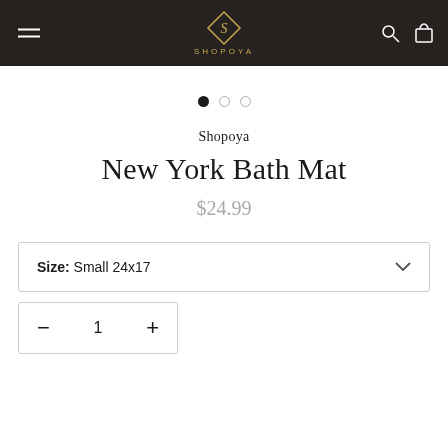[Figure (logo): Shopoya logo with diamond-shaped icon and text, on dark brown navigation bar]
[Figure (other): Three pagination dots: one filled black, two empty circles]
Shopoya
New York Bath Mat
$24.99
Size: Small 24x17
1